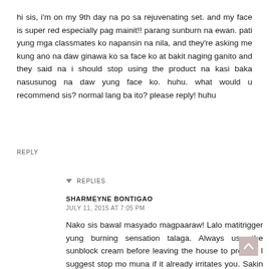hi sis, i'm on my 9th day na po sa rejuvenating set. and my face is super red especially pag mainit!! parang sunburn na ewan. pati yung mga classmates ko napansin na nila, and they're asking me kung ano na daw ginawa ko sa face ko at bakit naging ganito and they said na i should stop using the product na kasi baka nasusunog na daw yung face ko. huhu. what would u recommend sis? normal lang ba ito? please reply! huhu
REPLY
▾ REPLIES
SHARMEYNE BONTIGAO
JULY 11, 2015 AT 7:05 PM
Nako sis bawal masyado magpaaraw! Lalo matitrigger yung burning sensation talaga. Always use the sunblock cream before leaving the house to protect. I suggest stop mo muna if it already irritates you. Sakin kasi same feeling lang pero tiniis ko siya, kasi meron rin akong friends na gumagamit rin and they said it's